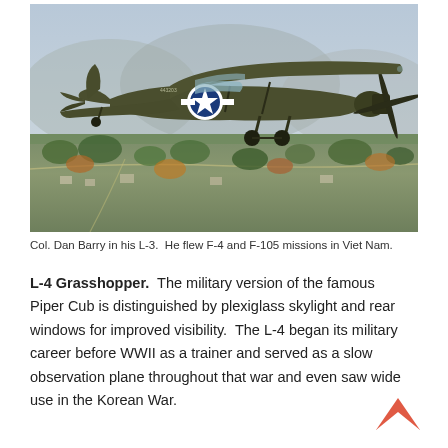[Figure (photo): A dark olive-green military liaison aircraft (Aeronca L-3) with a white US Army Air Forces star insignia on the fuselage, photographed in flight over a suburban landscape with autumn trees and residential neighborhoods below.]
Col. Dan Barry in his L-3.  He flew F-4 and F-105 missions in Viet Nam.
L-4 Grasshopper.  The military version of the famous Piper Cub is distinguished by plexiglass skylight and rear windows for improved visibility.  The L-4 began its military career before WWII as a trainer and served as a slow observation plane throughout that war and even saw wide use in the Korean War.